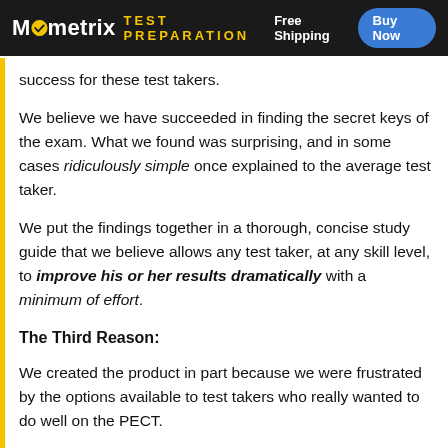Mometrix TEST PREPARATION  Free Shipping  Buy Now
success for these test takers.
We believe we have succeeded in finding the secret keys of the exam. What we found was surprising, and in some cases ridiculously simple once explained to the average test taker.
We put the findings together in a thorough, concise study guide that we believe allows any test taker, at any skill level, to improve his or her results dramatically with a minimum of effort.
The Third Reason:
We created the product in part because we were frustrated by the options available to test takers who really wanted to do well on the PECT.
A common approach is to TEACH the material,